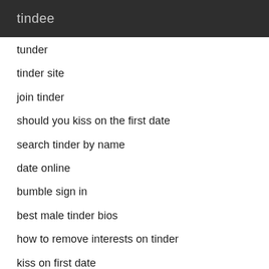tindee
tunder
tinder site
join tinder
should you kiss on the first date
search tinder by name
date online
bumble sign in
best male tinder bios
how to remove interests on tinder
kiss on first date
tinder application